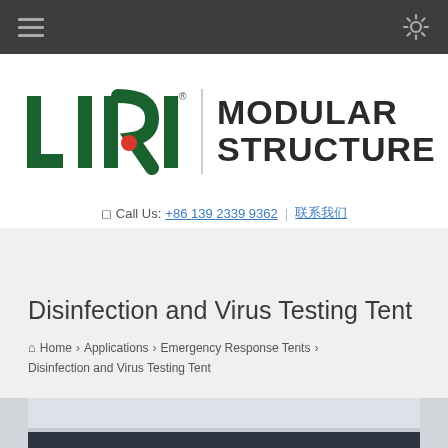[Navigation bar with hamburger menu and settings icon]
[Figure (logo): LIRI Modular Structure logo — green LIRI letters with red dot, followed by 'MODULAR STRUCTURE' in bold dark text]
Call Us: +86 139 2339 9362 | 联系我们
Disinfection and Virus Testing Tent
Home › Applications › Emergency Response Tents › Disinfection and Virus Testing Tent
[Figure (photo): Partially visible photo of a tent structure with LIRI logo at the bottom left]